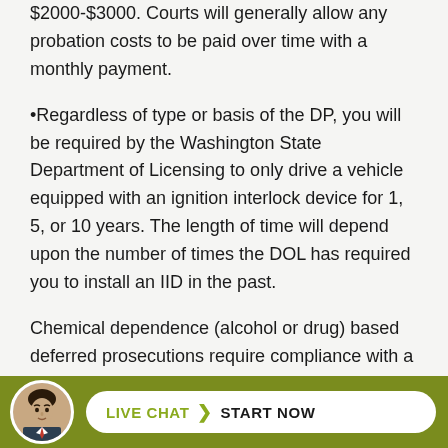$2000-$3000. Courts will generally allow any probation costs to be paid over time with a monthly payment.
•Regardless of type or basis of the DP, you will be required by the Washington State Department of Licensing to only drive a vehicle equipped with an ignition interlock device for 1, 5, or 10 years. The length of time will depend upon the number of times the DOL has required you to install an IID in the past.
Chemical dependence (alcohol or drug) based deferred prosecutions require compliance with a two year state certified treatment plan that follows a strict protocol defined by RCW 10.05.150. – Total abstinence from alcohol and all other non-prescribed, mind-altering drugs; attend at a report
[Figure (other): Live chat widget at the bottom of the page with a circular avatar photo of a man in a suit, and a white pill-shaped button reading 'LIVE CHAT > START NOW' on a green/olive background bar.]